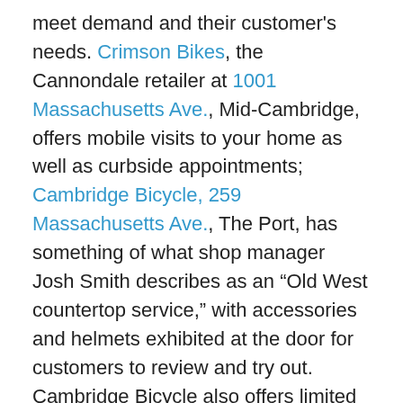meet demand and their customer's needs. Crimson Bikes, the Cannondale retailer at 1001 Massachusetts Ave., Mid-Cambridge, offers mobile visits to your home as well as curbside appointments; Cambridge Bicycle, 259 Massachusetts Ave., The Port, has something of what shop manager Josh Smith describes as an "Old West countertop service," with accessories and helmets exhibited at the door for customers to review and try out. Cambridge Bicycle also offers limited test rides.
One thing all agreed on was that the shutdown has been both a boon for cycling. "More people now see cycling as a more attractive and viable thing," Smith said. Paige said that he's doing a lot more family sales, with overall sales in units notably up from last year, but accessory sales down. "Families are getting out and biking together," he said. "That makes me emotional."